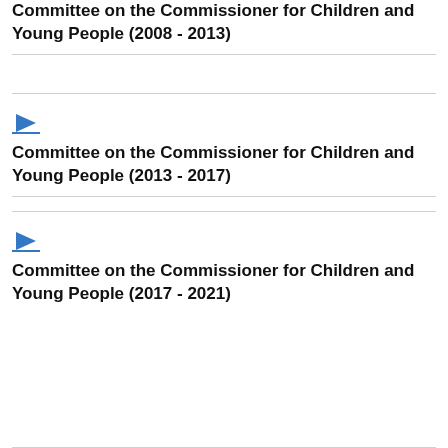Committee on the Commissioner for Children and Young People (2008 - 2013)
[Figure (illustration): Blue right-pointing arrow icon with underline]
Committee on the Commissioner for Children and Young People (2013 - 2017)
[Figure (illustration): Blue right-pointing arrow icon with underline]
Committee on the Commissioner for Children and Young People (2017 - 2021)